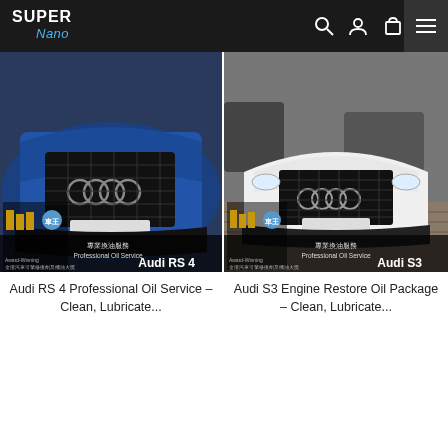Super Nano – Professional Oil Service
[Figure (photo): Audi RS 4 front grille close-up with Professional Oil Service branding and award logos]
Audi RS 4 Professional Oil Service – Clean, Lubricate...
[Figure (photo): Audi S3 white car front view at service center with Professional Oil Service branding and award logos]
Audi S3 Engine Restore Oil Package – Clean, Lubricate...